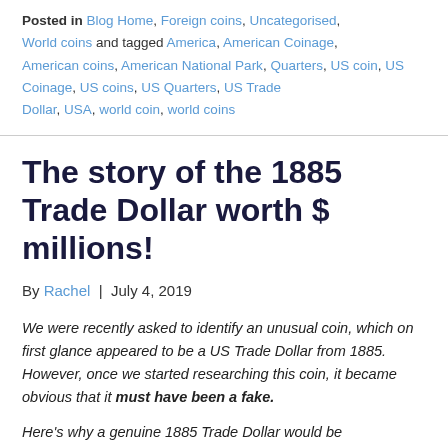Posted in Blog Home, Foreign coins, Uncategorised, World coins and tagged America, American Coinage, American coins, American National Park, Quarters, US coin, US Coinage, US coins, US Quarters, US Trade Dollar, USA, world coin, world coins
The story of the 1885 Trade Dollar worth $ millions!
By Rachel | July 4, 2019
We were recently asked to identify an unusual coin, which on first glance appeared to be a US Trade Dollar from 1885. However, once we started researching this coin, it became obvious that it must have been a fake.
Here's why a genuine 1885 Trade Dollar would be